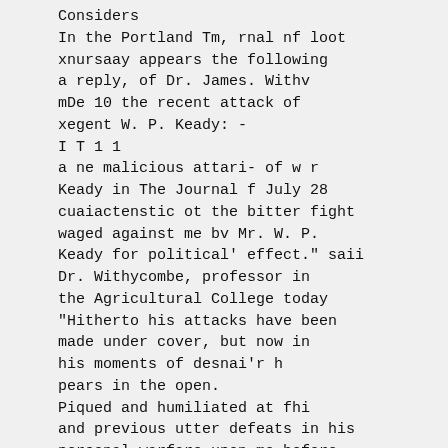Considers
In the Portland Tm, rnal nf loot
xnursaay appears the following
a reply, of Dr. James. Withv
mDe 10 the recent attack of
xegent W. P. Keady: -
I T 1 1
a ne malicious attari- of w r
Keady in The Journal f July 28
cuaiactenstic ot the bitter fight
waged against me bv Mr. W. P.
Keady for political' effect." saii
Dr. Withycombe, professor in
the Agricultural College today
"Hitherto his attacks have been
made under cover, but now in
his moments of desnai'r h
pears in the open.
Piqued and humiliated at fhi
and previous utter defeats in his
personal warfare upon me before
the board of regents, thic mnrtii.,
o 7 -J "wimj
gcuuciuan rusnea into print.
"ins whole article from he